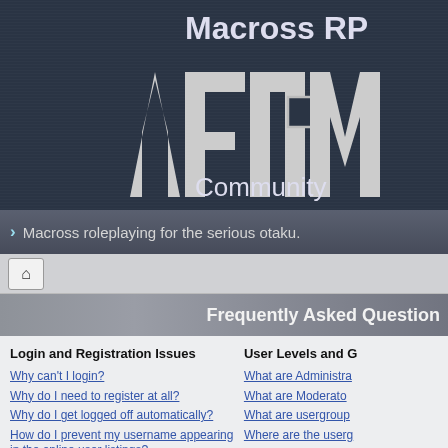[Figure (screenshot): Macross RPG community website header with dark blue textured background, stylized white logo, site title 'Macross RP' and subtitle 'Community']
Macross roleplaying for the serious otaku.
Frequently Asked Question
Login and Registration Issues
User Levels and G
Why can't I login?
Why do I need to register at all?
Why do I get logged off automatically?
How do I prevent my username appearing in the online user listings?
I've lost my password!
I registered but cannot login!
What are Administra
What are Moderato
What are usergroup
Where are the userg
How do I become a
Why do some userg
What is a "Default